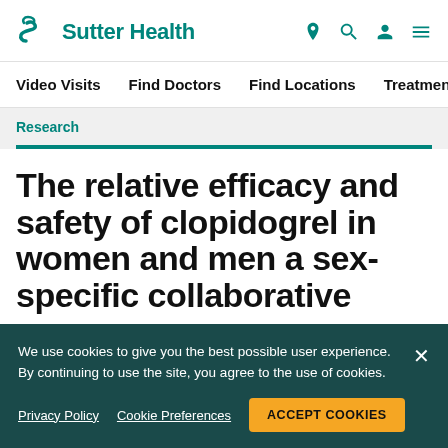Sutter Health
Video Visits | Find Doctors | Find Locations | Treatments
Research
The relative efficacy and safety of clopidogrel in women and men a sex-specific collaborative
We use cookies to give you the best possible user experience. By continuing to use the site, you agree to the use of cookies.
Privacy Policy  Cookie Preferences  ACCEPT COOKIES